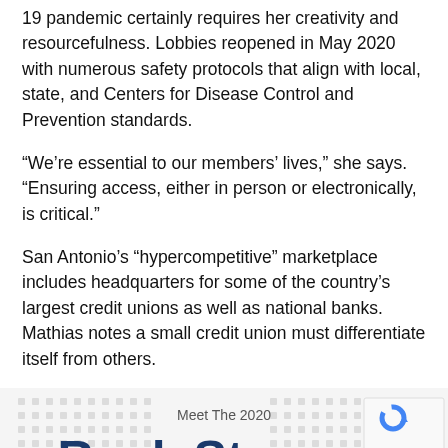19 pandemic certainly requires her creativity and resourcefulness. Lobbies reopened in May 2020 with numerous safety protocols that align with local, state, and Centers for Disease Control and Prevention standards.
“We’re essential to our members’ lives,” she says. “Ensuring access, either in person or electronically, is critical.”
San Antonio’s “hypercompetitive” marketplace includes headquarters for some of the country’s largest credit unions as well as national banks. Mathias notes a small credit union must differentiate itself from others.
[Figure (infographic): Meet The 2020 Rock Stars banner with decorative dot grid background and reCAPTCHA badge on right]